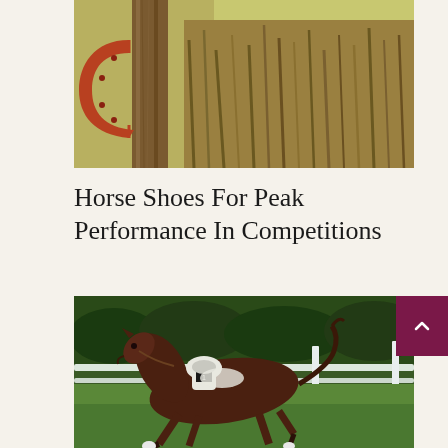[Figure (photo): A rusty horseshoe hanging on a wooden post surrounded by dried reeds and tall grass in a rural farm setting]
Horse Shoes For Peak Performance In Competitions
[Figure (photo): A dark brown horse galloping on a green grass racetrack with white fencing and green hedges in the background, carrying a jockey in white]